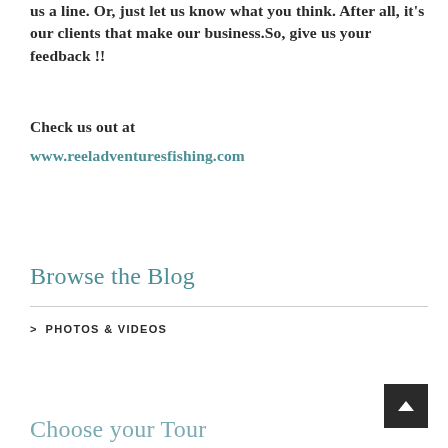us a line. Or, just let us know what you think. After all, it's our clients that make our business.So, give us your feedback !!
Check us out at
www.reeladventuresfishing.com
Browse the Blog
> PHOTOS & VIDEOS
Choose your Tour